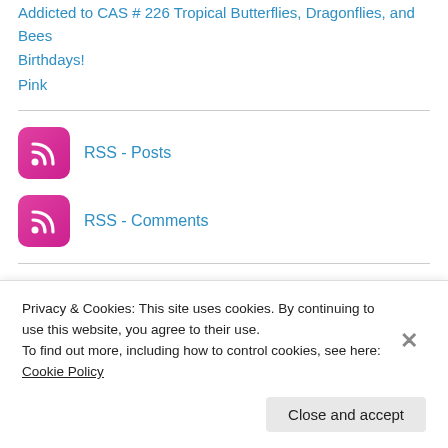Addicted to CAS # 226 Tropical Butterflies, Dragonflies, and Bees
Birthdays!
Pink
[Figure (logo): RSS feed pink icon for Posts]
RSS - Posts
[Figure (logo): RSS feed pink icon for Comments]
RSS - Comments
T
Privacy & Cookies: This site uses cookies. By continuing to use this website, you agree to their use.
To find out more, including how to control cookies, see here: Cookie Policy
Close and accept